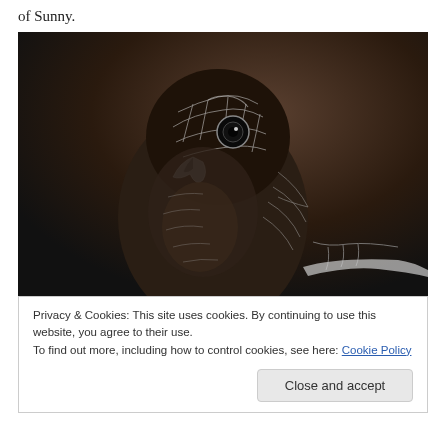of Sunny.
[Figure (illustration): A detailed pencil/chalk drawing of a parrot (Sunny) on a dark brown/black background. The bird is depicted in grayscale with white line work showing feather details, a large eye, curved beak, and perched posture.]
Privacy & Cookies: This site uses cookies. By continuing to use this website, you agree to their use.
To find out more, including how to control cookies, see here: Cookie Policy
Close and accept